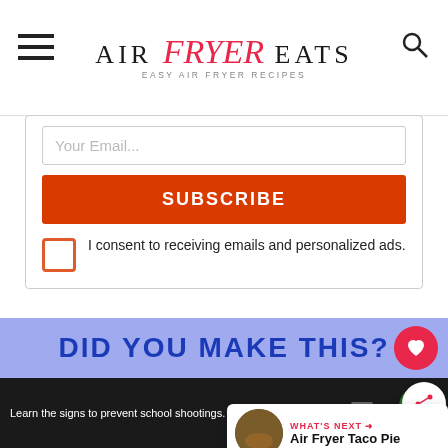AIR Fryer EATS — EASY AIR FRYER RECIPES
Your Email...
SUBSCRIBE
I consent to receiving emails and personalized ads.
DID YOU MAKE THIS?
Have you made this recipe? Please leave a comment AND rating below! It helps other readers!
WHAT'S NEXT → Air Fryer Taco Pie
Learn the signs to prevent school shootings.